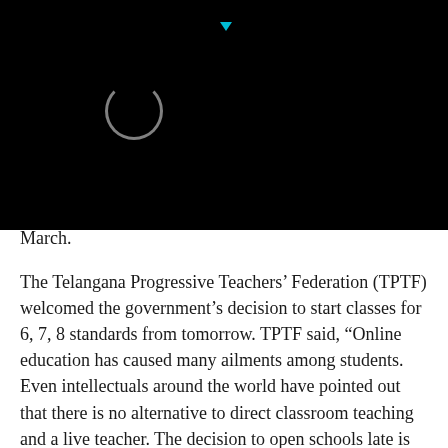[Figure (screenshot): Black header area with a loading spinner circle and a small cyan triangle/arrow icon at the top center, indicating a video or media player loading state.]
March.
The Telangana Progressive Teachers' Federation (TPTF) welcomed the government's decision to start classes for 6, 7, 8 standards from tomorrow. TPTF said, “Online education has caused many ailments among students. Even intellectuals around the world have pointed out that there is no alternative to direct classroom teaching and a live teacher. The decision to open schools late is reasonable.”
The minister said that the consent of parents will be mandatory for their children to attend school. The schools too have to follow the Covid-19 guidelines laid